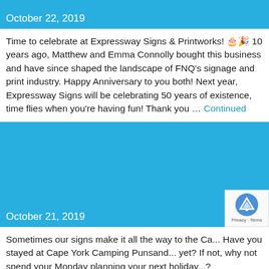[Figure (other): Blue banner image for October 22, 2019 post]
Time to celebrate at Expressway Signs & Printworks! 🎂🎉 10 years ago, Matthew and Emma Connolly bought this business and have since shaped the landscape of FNQ's signage and print industry. Happy Anniversary to you both! Next year, Expressway Signs will be celebrating 50 years of existence, time flies when you're having fun! Thank you … Continued
[Figure (other): Blue banner image for October 21, 2019 post]
Sometimes our signs make it all the way to the Ca... Have you stayed at Cape York Camping Punsand... yet? If not, why not spend your Monday planning your next holiday...? #capeyorkcamping #punsandbay...